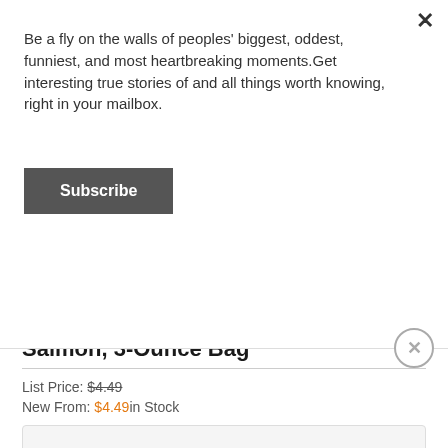Be a fly on the walls of peoples' biggest, oddest, funniest, and most heartbreaking moments.Get interesting true stories of and all things worth knowing, right in your mailbox.
Subscribe
Free Puppy Training Treats, Lamb & Salmon, 3-Ounce Bag
List Price: $4.49
New From: $4.49in Stock
[Figure (other): BUY NOW AT Amazon button with Amazon logo and smile]
Training a puppy can be hard. You depend on tasty dog treats so you might as well make sure they are the best. The next treat will be on the...